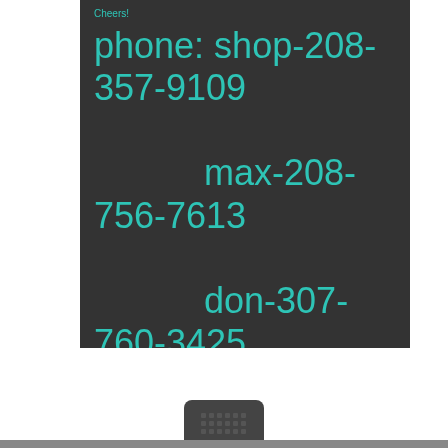Cheers!
phone:  shop-208-357-9109
            max-208-756-7613
            don-307-760-3425
email: max@ridesalmon.com